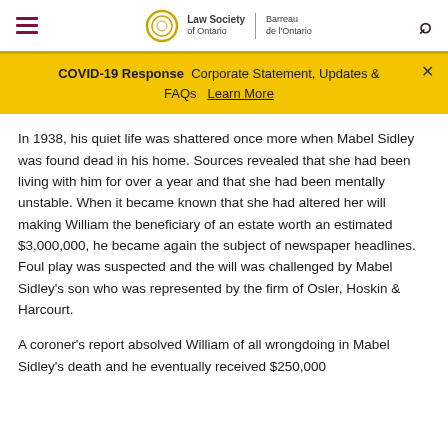Law Society of Ontario | Barreau de l'Ontario
COVID-19 Response  Corporate Statement, Updates & FAQs  Learn More
In 1938, his quiet life was shattered once more when Mabel Sidley was found dead in his home. Sources revealed that she had been living with him for over a year and that she had been mentally unstable. When it became known that she had altered her will making William the beneficiary of an estate worth an estimated $3,000,000, he became again the subject of newspaper headlines. Foul play was suspected and the will was challenged by Mabel Sidley's son who was represented by the firm of Osler, Hoskin & Harcourt.
A coroner's report absolved William of all wrongdoing in Mabel Sidley's death and he eventually received $250,000